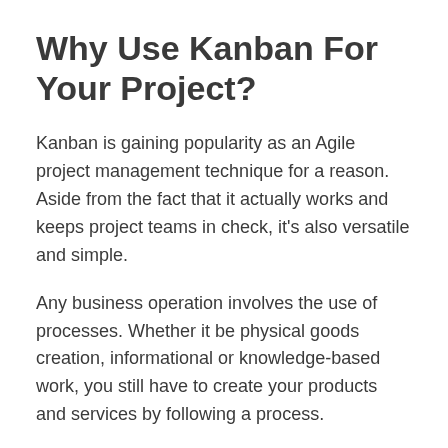Why Use Kanban For Your Project?
Kanban is gaining popularity as an Agile project management technique for a reason. Aside from the fact that it actually works and keeps project teams in check, it’s also versatile and simple.
Any business operation involves the use of processes. Whether it be physical goods creation, informational or knowledge-based work, you still have to create your products and services by following a process.
Kanban takes your process and visually lays it out for you through a Kanban board. A simple Kanban